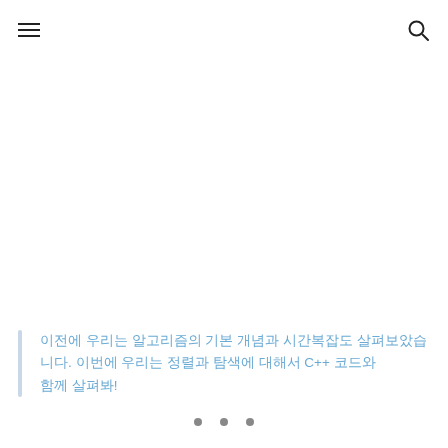≡  🔍
이전에 우리는 알고리즘의 기본 개념과 시간복잡도 살펴보았습니다. 이번에 우리는 정렬과 탐색에 대해서 C++ 코드와 함께 살펴봐!